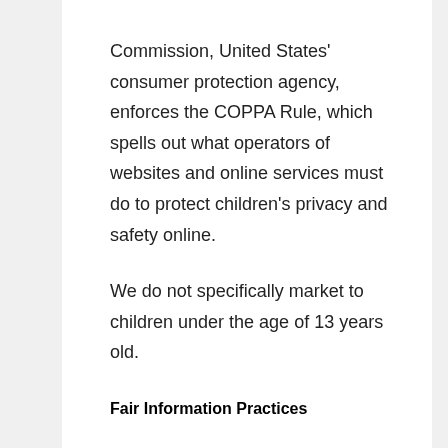Commission, United States' consumer protection agency, enforces the COPPA Rule, which spells out what operators of websites and online services must do to protect children's privacy and safety online.
We do not specifically market to children under the age of 13 years old.
Fair Information Practices
The Fair Information Practices Principles form the backbone of privacy law in the United States and the concepts they include have played a significant role in